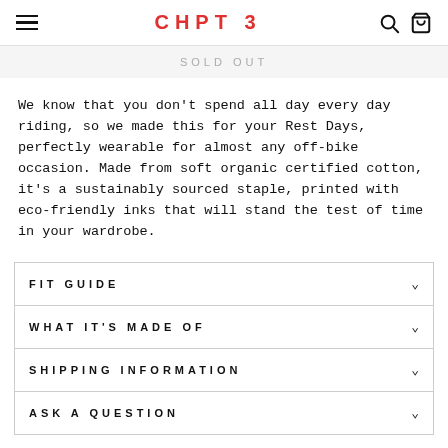CHPT 3
Sold Out
We know that you don't spend all day every day riding, so we made this for your Rest Days, perfectly wearable for almost any off-bike occasion. Made from soft organic certified cotton, it's a sustainably sourced staple, printed with eco-friendly inks that will stand the test of time in your wardrobe.
FIT GUIDE
WHAT IT'S MADE OF
SHIPPING INFORMATION
ASK A QUESTION